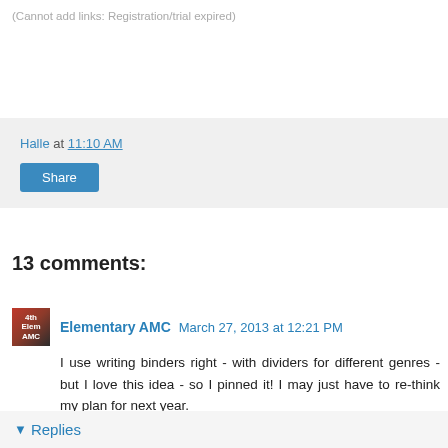(Cannot add links: Registration/trial expired)
Halle at 11:10 AM
Share
13 comments:
Elementary AMC  March 27, 2013 at 12:21 PM
I use writing binders right - with dividers for different genres - but I love this idea - so I pinned it! I may just have to re-think my plan for next year.
Reply
▾ Replies